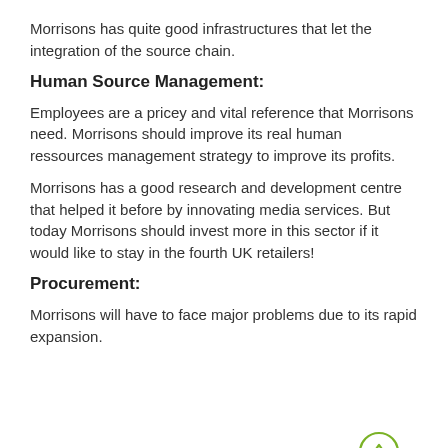Morrisons has quite good infrastructures that let the integration of the source chain.
Human Source Management:
Employees are a pricey and vital reference that Morrisons need. Morrisons should improve its real human ressources management strategy to improve its profits.
Morrisons has a good research and development centre that helped it before by innovating media services. But today Morrisons should invest more in this sector if it would like to stay in the fourth UK retailers!
Procurement:
Morrisons will have to face major problems due to its rapid expansion.